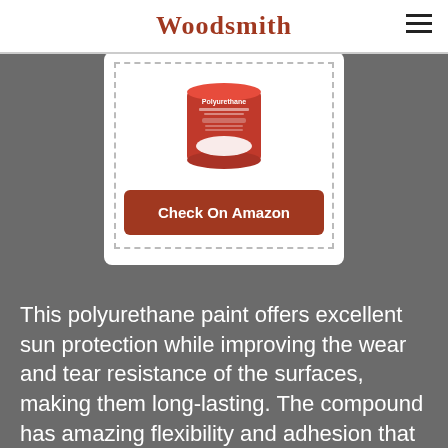Woodsmith
[Figure (photo): A red can of polyurethane paint product shown inside a dashed border box, with a brown 'Check On Amazon' button below it.]
This polyurethane paint offers excellent sun protection while improving the wear and tear resistance of the surfaces, making them long-lasting. The compound has amazing flexibility and adhesion that enhance the